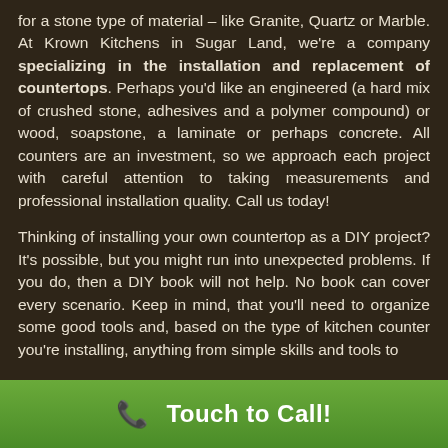for a stone type of material – like Granite, Quartz or Marble. At Krown Kitchens in Sugar Land, we're a company specializing in the installation and replacement of countertops. Perhaps you'd like an engineered (a hard mix of crushed stone, adhesives and a polymer compound) or wood, soapstone, a laminate or perhaps concrete. All counters are an investment, so we approach each project with careful attention to taking measurements and professional installation quality. Call us today!
Thinking of installing your own countertop as a DIY project? It's possible, but you might run into unexpected problems. If you do, then a DIY book will not help. No book can cover every scenario. Keep in mind, that you'll need to organize some good tools and, based on the type of kitchen counter you're installing, anything from simple skills and tools to
Touch to Call!